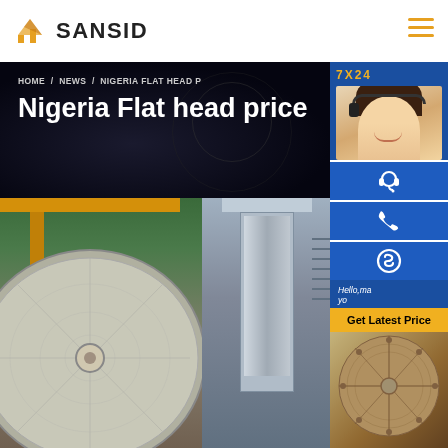[Figure (logo): SANSID logo with orange building icon and text]
[Figure (infographic): Dark industrial banner with breadcrumb navigation HOME / NEWS / NIGERIA FLAT HEAD P... and title Nigeria Flat head price]
HOME  /  NEWS  /  NIGERIA FLAT HEAD P
Nigeria Flat head price
[Figure (photo): Industrial manufacturing facility with large satellite dish/flat head mold and hydraulic press machinery, green factory interior]
[Figure (photo): 7X24 customer service representative with headset, smiling woman]
[Figure (photo): Industrial machinery/equipment top view]
[Figure (photo): Worker operating large circular flat head equipment with pattern markings]
[Figure (infographic): Blue contact sidebar with 7X24 label, headset icon button, phone icon button, Skype icon button]
Hello,ma yo
Get Latest Price